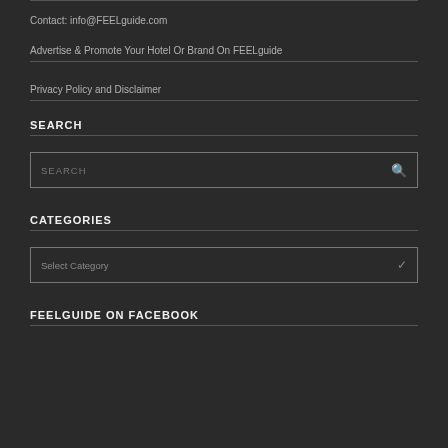Contact: info@FEELguide.com
Advertise & Promote Your Hotel Or Brand On FEELguide
Privacy Policy and Disclaimer
SEARCH
SEARCH (search input field)
CATEGORIES
Select Category (dropdown)
FEELGUIDE ON FACEBOOK